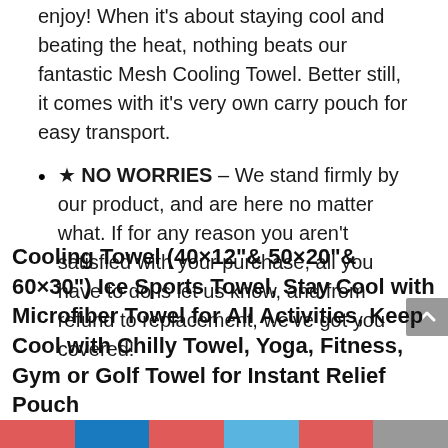enjoy! When it's about staying cool and beating the heat, nothing beats our fantastic Mesh Cooling Towel. Better still, it comes with it's very own carry pouch for easy transport.
★ NO WORRIES – We stand firmly by our product, and are here no matter what. If for any reason you aren't satisfied with your purchase, all you have to do is let us know, and from refund to replacement, we've got you covered!
Cooling Towel (40×12"& 50×20"& 60×30") Ice Sports Towel, Stay Cool with Microfiber Towel for All Activities, Keep Cool with Chilly Towel, Yoga, Fitness, Gym or Golf Towel for Instant Relief Pouch